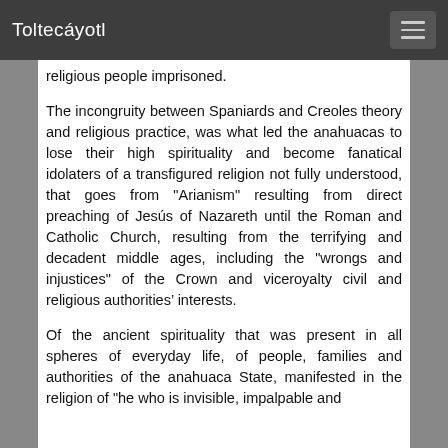Toltecáyotl
religious people imprisoned.
The incongruity between Spaniards and Creoles theory and religious practice, was what led the anahuacas to lose their high spirituality and become fanatical idolaters of a transfigured religion not fully understood, that goes from "Arianism" resulting from direct preaching of Jesús of Nazareth until the Roman and Catholic Church, resulting from the terrifying and decadent middle ages, including the "wrongs and injustices" of the Crown and viceroyalty civil and religious authorities interests.
Of the ancient spirituality that was present in all spheres of everyday life, of people, families and authorities of the anahuaca State, manifested in the religion of "he who is invisible, impalpable and..."